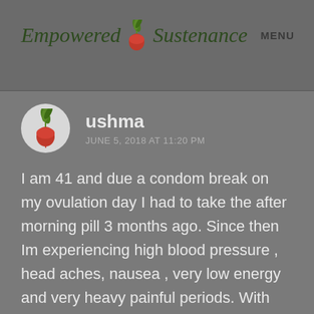Empowered Sustenance  MENU
ushma
JUNE 5, 2018 AT 11:20 PM
I am 41 and due a condom break on my ovulation day I had to take the after morning pill 3 months ago. Since then Im experiencing high blood pressure , head aches, nausea , very low energy and very heavy painful periods. With this Im not saying to anyone out there to take them or not. Simply sharing my experience… I noticed that taking hormones